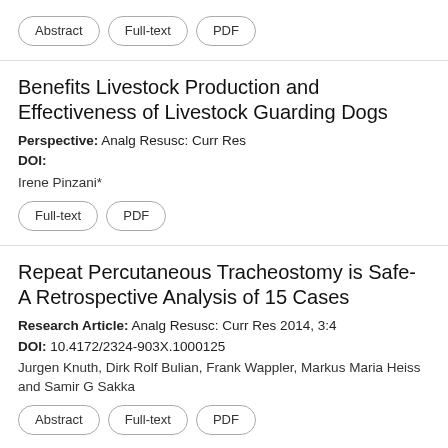Abstract | Full-text | PDF
Benefits Livestock Production and Effectiveness of Livestock Guarding Dogs
Perspective: Analg Resusc: Curr Res
DOI:
Irene Pinzani*
Full-text | PDF
Repeat Percutaneous Tracheostomy is Safe- A Retrospective Analysis of 15 Cases
Research Article: Analg Resusc: Curr Res 2014, 3:4
DOI: 10.4172/2324-903X.1000125
Jurgen Knuth, Dirk Rolf Bulian, Frank Wappler, Markus Maria Heiss and Samir G Sakka
Abstract | Full-text | PDF
Food Cosmetic Remedy Prepared from Medicinal Plants and Essential Oil Mixtures